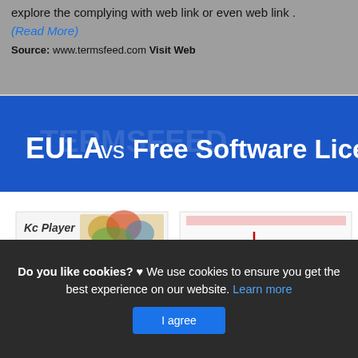explore the complying with web link or even web link .
(Read More)
Source: www.termsfeed.com Visit Web
[Figure (infographic): Infographic comparing EULA vs Free Software License. Blue banner header reads 'EULA vs Free Software License'. Below shows two document examples side by side: left shows an End User License Agreement with red arrow pointing to highlighted label, right shows GNU General Public License with red arrow pointing to highlighted label.]
Do you like cookies? ♥ We use cookies to ensure you get the best experience on our website. Learn more
I agree